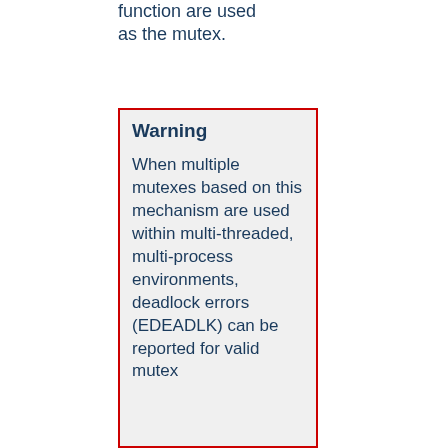function are used as the mutex.
Warning

When multiple mutexes based on this mechanism are used within multi-threaded, multi-process environments, deadlock errors (EDEADLK) can be reported for valid mutex